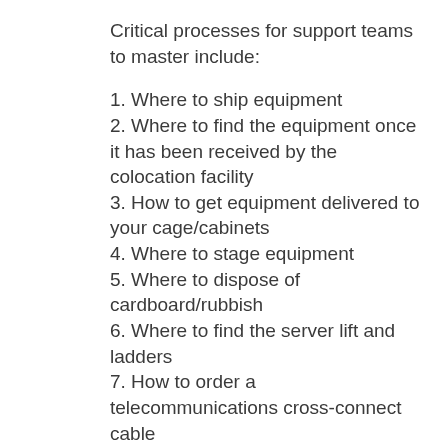Critical processes for support teams to master include:
1. Where to ship equipment
2. Where to find the equipment once it has been received by the colocation facility
3. How to get equipment delivered to your cage/cabinets
4. Where to stage equipment
5. Where to dispose of cardboard/rubbish
6. Where to find the server lift and ladders
7. How to order a telecommunications cross-connect cable
8. How to get vendors access to the facility (one-time and recurring)